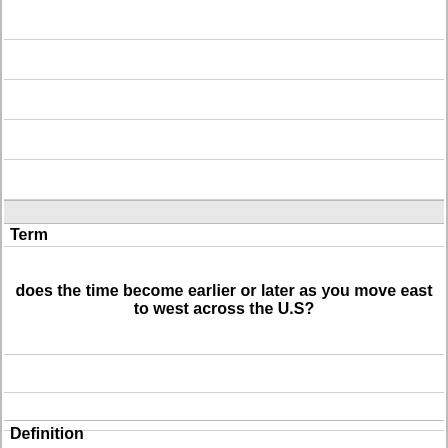Term
does the time become earlier or later as you move east to west across the U.S?
Definition